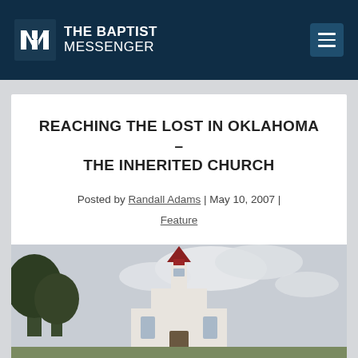THE BAPTIST MESSENGER
REACHING THE LOST IN OKLAHOMA – THE INHERITED CHURCH
Posted by Randall Adams | May 10, 2007 | Feature
[Figure (photo): Photograph of a church building with a red steeple against a cloudy sky, with trees visible on the left side.]